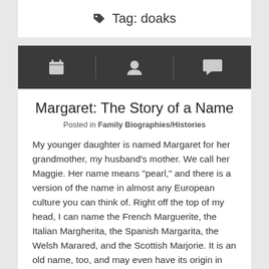Tag: doaks
[Figure (infographic): Dark navigation bar with three icons: calendar, person, and speech bubble]
Margaret: The Story of a Name
Posted in Family Biographies/Histories
My younger daughter is named Margaret for her grandmother, my husband's mother. We call her Maggie. Her name means "pearl," and there is a version of the name in almost any European culture you can think of. Right off the top of my head, I can name the French Marguerite, the Italian Margherita, the Spanish Margarita, the Welsh Marared, and the Scottish Marjorie. It is an old name, too, and may even have its origin in Sanskrit. At one time, it was a very